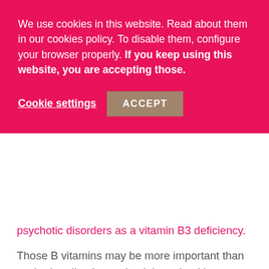We use cookies in this website. Read about them in our cookies policy. To disable them, configure your browser properly. If you keep using this website, you are accepting those.
Cookie settings   ACCEPT
psychotic disorders as a vitamin B3 deficiency.
Those B vitamins may be more important than we had realized to maintaining a healthy state, mentally and emotionally as well as physically.
Vitamin B3 (niacin) helps the body process fats and stabilize blood sugar and cholesterol. Niacin deficiencies may appear as general weakness, skin infections, digestive problems or lack of appetite.